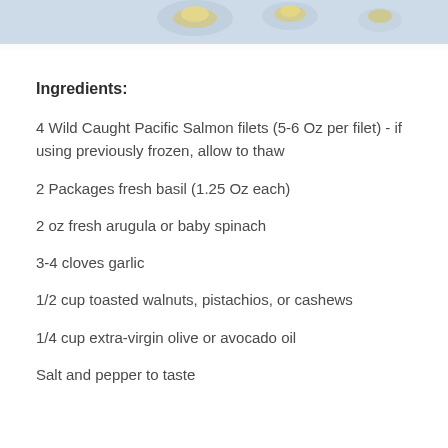[Figure (photo): Partial photo banner at top of page showing food items (likely salmon or similar dish) with yellow/gold and light blue tones]
Ingredients:
4 Wild Caught Pacific Salmon filets (5-6 Oz per filet) - if using previously frozen, allow to thaw
2 Packages fresh basil (1.25 Oz each)
2 oz fresh arugula or baby spinach
3-4 cloves garlic
1/2 cup toasted walnuts, pistachios, or cashews
1/4 cup extra-virgin olive or avocado oil
Salt and pepper to taste